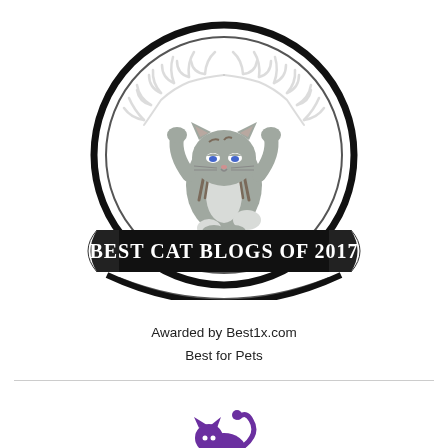[Figure (logo): Best Cat Blogs of 2017 award badge: circular badge with laurel wreath, cartoon tabby cat with arms raised in center, black ribbon banner with white serif text reading BEST CAT BLOGS OF 2017]
Awarded by Best1x.com
Best for Pets
[Figure (logo): Purple cartoon cat logo with curled tail and text in script font reading Best Cat Blog of 2017]